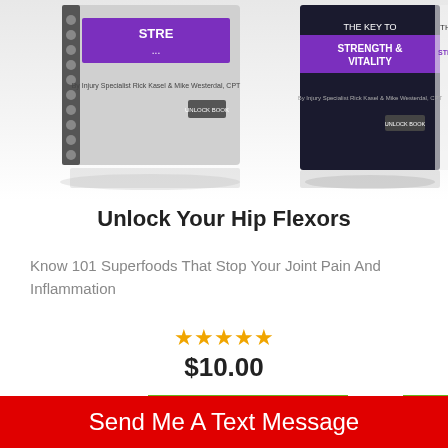[Figure (photo): Two book/guide product covers partially visible at top of page. Left cover shows a spiral-bound book with purple title text. Right cover shows a dark book with text 'THE KEY TO STRENGTH & VITALITY'.]
Unlock Your Hip Flexors
Know 101 Superfoods That Stop Your Joint Pain And Inflammation
★★★★★ (5 star rating) $10.00
READ MORE
Send Me A Text Message